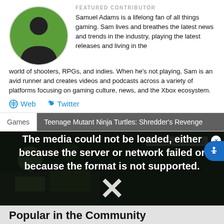[Figure (photo): Circular avatar photo of Samuel Adams, a young man in a black shirt against a green background]
FEATURED CONTRIBUTOR
Samuel Adams is a lifelong fan of all things gaming. Sam lives and breathes the latest news and trends in the industry, playing the latest releases and living in the world of shooters, RPGs, and indies. When he's not playing, Sam is an avid runner and creates videos and podcasts across a variety of platforms focusing on gaming culture, news, and the Xbox ecosystem.
Web  Twitter
Games  Teenage Mutant Ninja Turtles: Shredder's Revenge
[Figure (screenshot): Video player showing a Terraria 1.4.4 screenshot with a media error overlay reading: The media could not be loaded, either because the server or network failed or because the format is not supported.]
Popular in the Community